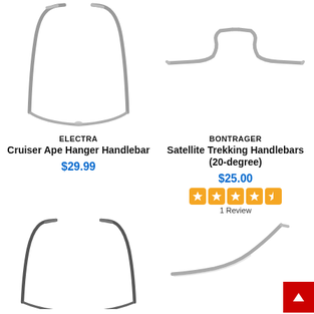[Figure (photo): Electra Cruiser Ape Hanger Handlebar - chrome bicycle handlebar with tall rise, top row left]
[Figure (photo): Bontrager Satellite Trekking Handlebars (20-degree) - chrome flat trekking handlebar, top row right]
ELECTRA
Cruiser Ape Hanger Handlebar
$29.99
BONTRAGER
Satellite Trekking Handlebars (20-degree)
$25.00
1 Review
[Figure (photo): Chrome ape hanger style bicycle handlebar, bottom row left]
[Figure (photo): Chrome curved bicycle handlebar, bottom row right, partially visible with red back-to-top button]